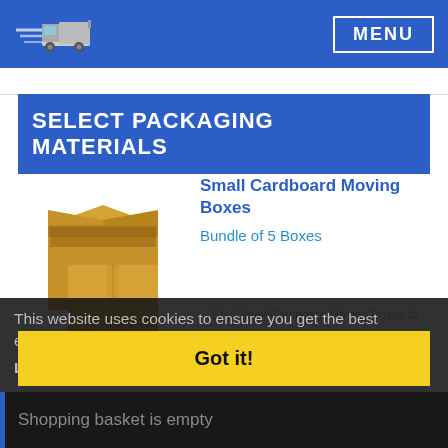[Figure (logo): Delivery truck logo with speed lines on blue navigation bar]
MENU
SELECT PACKAGING MATERIALS
[Figure (photo): Cardboard moving boxes stacked]
Small Cardboard Moving Boxes
Bundle of 5 Boxes
Buy Small Cardboard Moving Boxes fo...
£3.95
price per box
13 (L) x 12 (W) x 12 (H) Inch
157 (L) x 305 (W) x 305 (H) mm
This website uses cookies to ensure you get the best experience on our website.
Learn more
Got it!
Shopping basket is empty